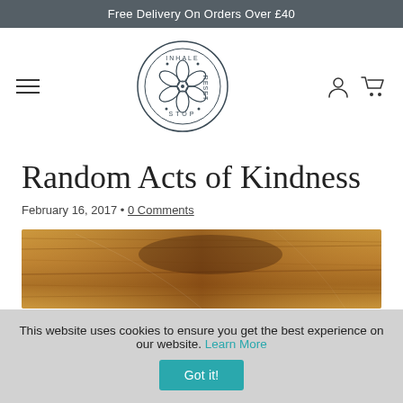Free Delivery On Orders Over £40
[Figure (logo): Stop Inhale Reset circular logo with flower motif]
Random Acts of Kindness
February 16, 2017 • 0 Comments
[Figure (photo): Close-up photo of a worn wooden surface with texture and grain]
This website uses cookies to ensure you get the best experience on our website. Learn More
Got it!